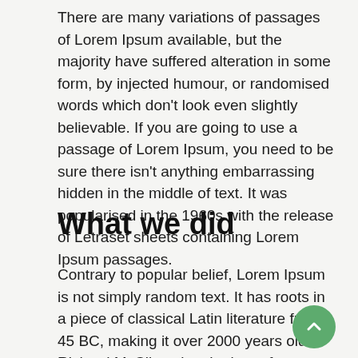There are many variations of passages of Lorem Ipsum available, but the majority have suffered alteration in some form, by injected humour, or randomised words which don't look even slightly believable. If you are going to use a passage of Lorem Ipsum, you need to be sure there isn't anything embarrassing hidden in the middle of text. It was popularised in the 1960s with the release of Letraset sheets containing Lorem Ipsum passages.
What we did
Contrary to popular belief, Lorem Ipsum is not simply random text. It has roots in a piece of classical Latin literature from 45 BC, making it over 2000 years old. Richard McClintock, a Latin professor at Hampden-Sydney College in Virginia, looked up one of the more obscure Latin words...